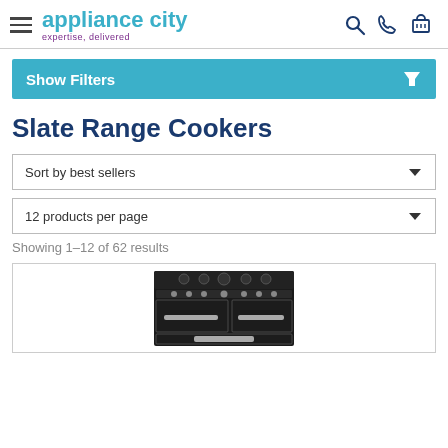appliance city — expertise, delivered
Show Filters
Slate Range Cookers
Sort by best sellers
12 products per page
Showing 1–12 of 62 results
[Figure (photo): A slate/black range cooker with gas hob and multiple oven doors with chrome handles]